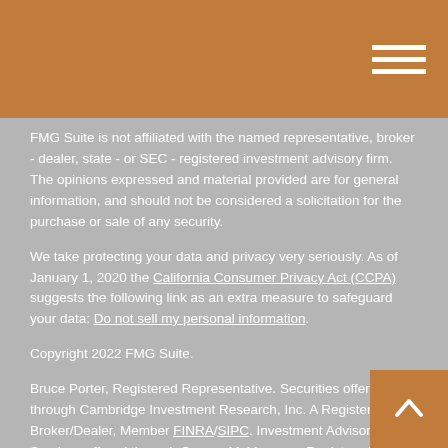FMG Suite is not affiliated with the named representative, broker - dealer, state - or SEC - registered investment advisory firm. The opinions expressed and material provided are for general information, and should not be considered a solicitation for the purchase or sale of any security.
We take protecting your data and privacy very seriously. As of January 1, 2020 the California Consumer Privacy Act (CCPA) suggests the following link as an extra measure to safeguard your data: Do not sell my personal information.
Copyright 2022 FMG Suite.
Bruce Porter, Registered Representative. Securities offered through Cambridge Investment Research, Inc. A Registered Broker/Dealer, Member FINRA/SIPC. Investment Advisory Services offered through Cooper McManus, a Registered Investment Adviser, to residents of California, Arizona, Washington, Texas, New York, Alabama, Colorado, Indiana, Kentucky, Michigan